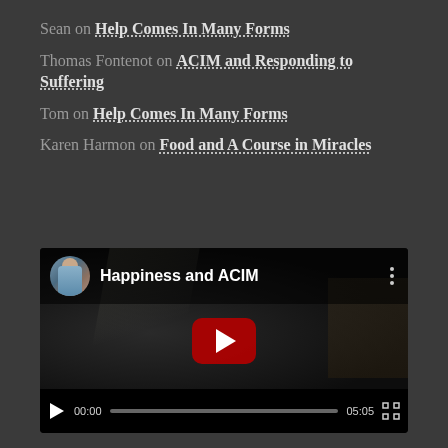Sean on Help Comes In Many Forms
Thomas Fontenot on ACIM and Responding to Suffering
Tom on Help Comes In Many Forms
Karen Harmon on Food and A Course in Miracles
[Figure (screenshot): YouTube video embed titled 'Happiness and ACIM' showing a dark video thumbnail with a red play button, channel avatar of a man in blue shirt, video controls showing 00:00 current time and 05:05 duration.]